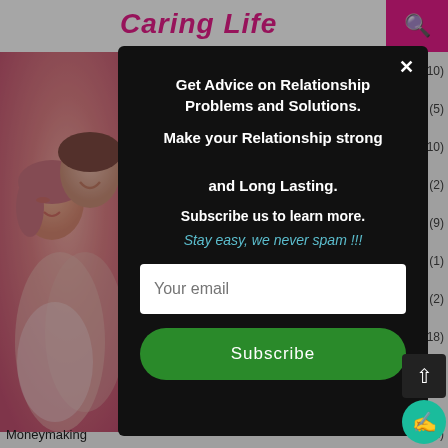[Figure (photo): A couple laughing and embracing, woman with closed eyes, man smiling, warm pink/red toned photo in left sidebar]
(10)
(5)
(10)
(2)
(9)
(1)
(2)
(18)
(13)
Get Advice on Relationship Problems and Solutions.

Make your Relationship strong

and Long Lasting.

Subscribe us to learn more.

Stay easy, we never spam !!!

[Your email input field]

[Subscribe button]
Moneymaking
(12)